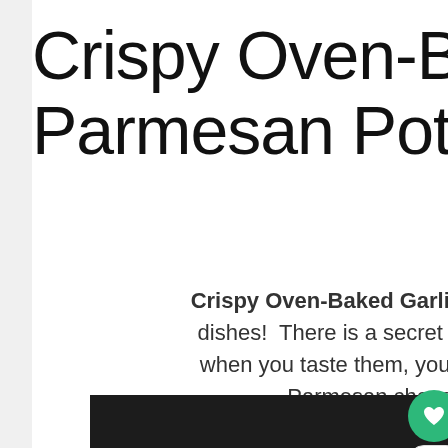Crispy Oven-Ba... Parmesan Pota...
Crispy Oven-Baked Garlic Parmesan... dishes! There is a secret to achieving... when you taste them, you will swear t... Parmesan cheese t...
[Figure (photo): Dark background food photo with green heart/like button, number 1 badge, and share button overlay]